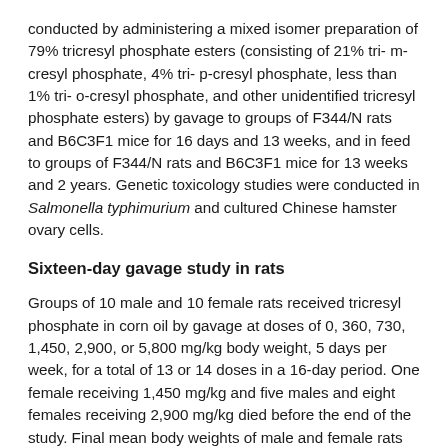conducted by administering a mixed isomer preparation of 79% tricresyl phosphate esters (consisting of 21% tri- m-cresyl phosphate, 4% tri- p-cresyl phosphate, less than 1% tri- o-cresyl phosphate, and other unidentified tricresyl phosphate esters) by gavage to groups of F344/N rats and B6C3F1 mice for 16 days and 13 weeks, and in feed to groups of F344/N rats and B6C3F1 mice for 13 weeks and 2 years. Genetic toxicology studies were conducted in Salmonella typhimurium and cultured Chinese hamster ovary cells.
Sixteen-day gavage study in rats
Groups of 10 male and 10 female rats received tricresyl phosphate in corn oil by gavage at doses of 0, 360, 730, 1,450, 2,900, or 5,800 mg/kg body weight, 5 days per week, for a total of 13 or 14 doses in a 16-day period. One female receiving 1,450 mg/kg and five males and eight females receiving 2,900 mg/kg died before the end of the study. Final mean body weights of male and female rats that received 1,450, 2,900, or 5,800 mg/kg were significantly lower than those of the controls. Necrosis of